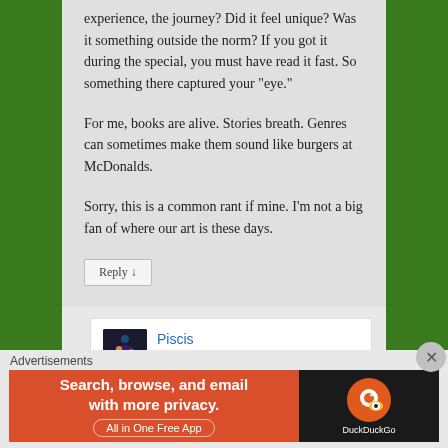experience, the journey? Did it feel unique? Was it something outside the norm? If you got it during the special, you must have read it fast. So something there captured your “eye.”
For me, books are alive. Stories breath. Genres can sometimes make them sound like burgers at McDonalds.
Sorry, this is a common rant if mine. I’m not a big fan of where our art is these days.
Reply ↓
Piscis
on September 10, 2013 at
Advertisements
[Figure (screenshot): DuckDuckGo advertisement banner: Search, browse, and email with more privacy. All in One Free App.]